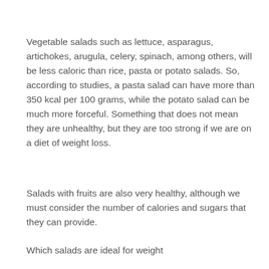Vegetable salads such as lettuce, asparagus, artichokes, arugula, celery, spinach, among others, will be less caloric than rice, pasta or potato salads. So, according to studies, a pasta salad can have more than 350 kcal per 100 grams, while the potato salad can be much more forceful. Something that does not mean they are unhealthy, but they are too strong if we are on a diet of weight loss.
Salads with fruits are also very healthy, although we must consider the number of calories and sugars that they can provide.
Which salads are ideal for weight